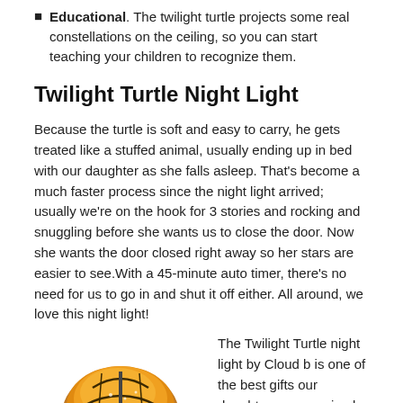Educational. The twilight turtle projects some real constellations on the ceiling, so you can start teaching your children to recognize them.
Twilight Turtle Night Light
Because the turtle is soft and easy to carry, he gets treated like a stuffed animal, usually ending up in bed with our daughter as she falls asleep. That's become a much faster process since the night light arrived; usually we're on the hook for 3 stories and rocking and snuggling before she wants us to close the door. Now she wants the door closed right away so her stars are easier to see.With a 45-minute auto timer, there's no need for us to go in and shut it off either. All around, we love this night light!
[Figure (illustration): Illustration of the Twilight Turtle Night Light product — a stuffed turtle toy with an orange/amber glowing shell that projects star constellations]
The Twilight Turtle night light by Cloud b is one of the best gifts our daughter ever received. It projects a complete starry night sky (with moon!) onto the ceiling and walls of her room. Pressing any of 3 buttons changes